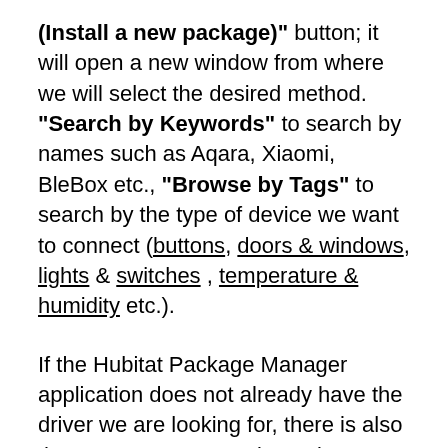(Install a new package)" button; it will open a new window from where we will select the desired method. "Search by Keywords" to search by names such as Aqara, Xiaomi, BleBox etc., "Browse by Tags" to search by the type of device we want to connect (buttons, doors & windows, lights & switches , temperature & humidity etc.).
If the Hubitat Package Manager application does not already have the driver we are looking for, there is also the "From a URL" option to import the code we need from another source. Thanks to unlimited automation options, Hubitat is increasingly used in intelligent systems, and the community is growing constantly. By accessing